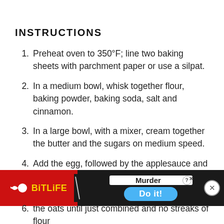INSTRUCTIONS
Preheat oven to 350°F; line two baking sheets with parchment paper or use a silpat.
In a medium bowl, whisk together flour, baking powder, baking soda, salt and cinnamon.
In a large bowl, with a mixer, cream together the butter and the sugars on medium speed.
Add the egg, followed by the applesauce and vanilla extract.
Working by hand, stir in the flour mixture and the oats until just combined and no streaks of flour
[Figure (screenshot): Advertisement banner: BitLife 'Murder - Do it!' mobile game ad with red background, yellow BitLife logo, black diagonal slash stripe, and blue 'Do it!' button. Close (X) button at right.]
6.